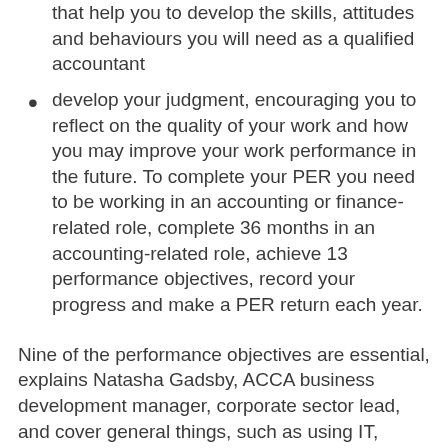that help you to develop the skills, attitudes and behaviours you will need as a qualified accountant
develop your judgment, encouraging you to reflect on the quality of your work and how you may improve your work performance in the future. To complete your PER you need to be working in an accounting or finance-related role, complete 36 months in an accounting-related role, achieve 13 performance objectives, record your progress and make a PER return each year.
Nine of the performance objectives are essential, explains Natasha Gadsby, ACCA business development manager, corporate sector lead, and cover general things, such as using IT, managing a project, and four optional ones, from a list of 11, are more specialised (eg tax and audit). The key thing, though, is that you must be in an accounting or finance role and your supervisor (who verifies your returns) must be a qualified accountant. For those reasons, working as a cashier in a